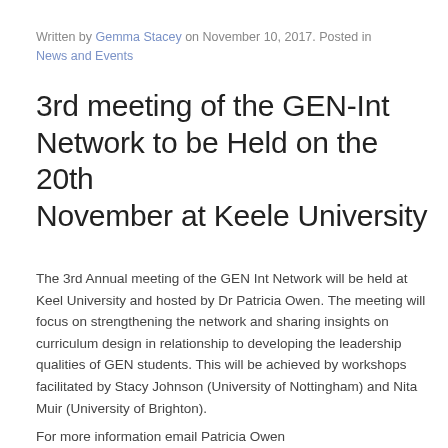Written by Gemma Stacey on November 10, 2017. Posted in News and Events
3rd meeting of the GEN-Int Network to be Held on the 20th November at Keele University
The 3rd Annual meeting of the GEN Int Network will be held at Keel University and hosted by Dr Patricia Owen. The meeting will focus on strengthening the network and sharing insights on curriculum design in relationship to developing the leadership qualities of GEN students. This will be achieved by workshops facilitated by Stacy Johnson (University of Nottingham) and Nita Muir (University of Brighton).
For more information email Patricia Owen